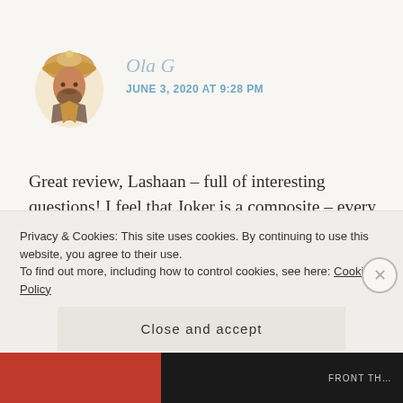[Figure (illustration): Avatar illustration of a historical/fantasy soldier figure wearing a pith helmet, rendered in warm golden-brown tones]
Ola G
JUNE 3, 2020 AT 9:28 PM
Great review, Lashaan – full of interesting questions! I feel that Joker is a composite – every writer and artist imbues him with slightly different qualities; sometimes he's more of a regular crook, sometimes he's mad as a hatter, sometimes he's a more sinister
Privacy & Cookies: This site uses cookies. By continuing to use this website, you agree to their use.
To find out more, including how to control cookies, see here: Cookie Policy
Close and accept